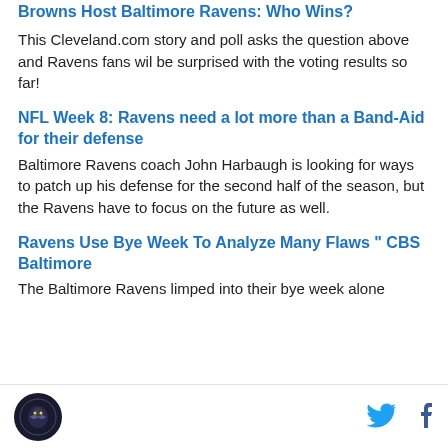Browns Host Baltimore Ravens: Who Wins?
This Cleveland.com story and poll asks the question above and Ravens fans wil be surprised with the voting results so far!
NFL Week 8: Ravens need a lot more than a Band-Aid for their defense
Baltimore Ravens coach John Harbaugh is looking for ways to patch up his defense for the second half of the season, but the Ravens have to focus on the future as well.
Ravens Use Bye Week To Analyze Many Flaws " CBS Baltimore
The Baltimore Ravens limped into their bye week alone
Ravens logo | Twitter | Facebook